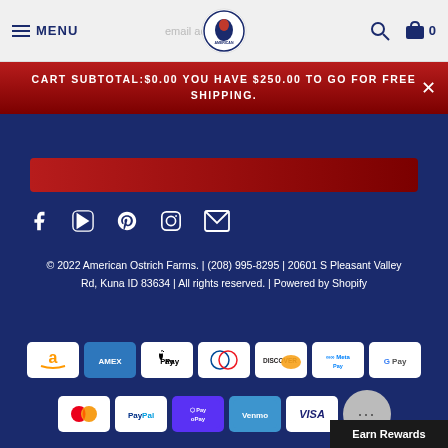MENU | American Ostrich Farms logo | Search | Cart 0
CART SUBTOTAL:$0.00 YOU HAVE $250.00 TO GO FOR FREE SHIPPING.
[Figure (infographic): Social media icons: Facebook, YouTube, Pinterest, Instagram, Email]
© 2022 American Ostrich Farms. | (208) 995-8295 | 20601 S Pleasant Valley Rd, Kuna ID 83634 | All rights reserved. | Powered by Shopify
[Figure (infographic): Payment method logos: Amazon, Amex, Apple Pay, Diners Club, Discover, Meta Pay, Google Pay, Mastercard, PayPal, Shop Pay, Venmo, Visa]
Earn Rewards